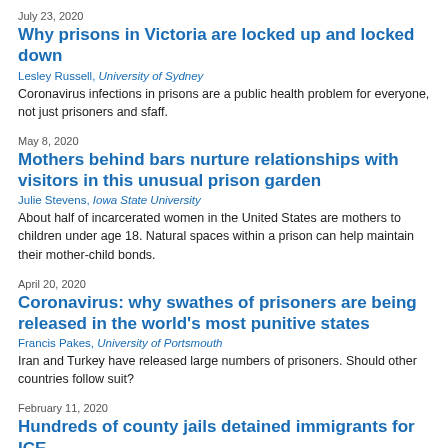July 23, 2020
Why prisons in Victoria are locked up and locked down
Lesley Russell, University of Sydney
Coronavirus infections in prisons are a public health problem for everyone, not just prisoners and sfaff.
May 8, 2020
Mothers behind bars nurture relationships with visitors in this unusual prison garden
Julie Stevens, Iowa State University
About half of incarcerated women in the United States are mothers to children under age 18. Natural spaces within a prison can help maintain their mother-child bonds.
April 20, 2020
Coronavirus: why swathes of prisoners are being released in the world's most punitive states
Francis Pakes, University of Portsmouth
Iran and Turkey have released large numbers of prisoners. Should other countries follow suit?
February 11, 2020
Hundreds of county jails detained immigrants for ICE
Emily Ryo, University of Southern California; Lisa Rosenthal, University of California...